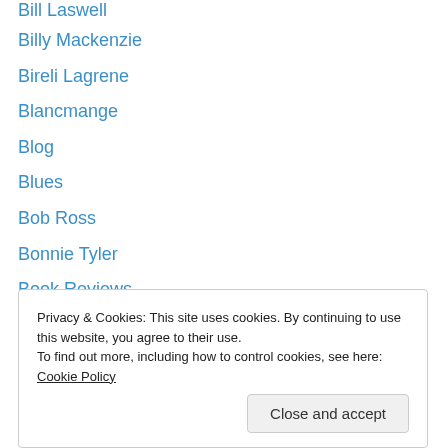Bill Laswell
Billy Mackenzie
Bireli Lagrene
Blancmange
Blog
Blues
Bob Ross
Bonnie Tyler
Book Reviews
Boon Gould
Bow Wow Wow
Breakdance
Brecker Brothers
Brian Eno
Privacy & Cookies: This site uses cookies. By continuing to use this website, you agree to their use. To find out more, including how to control cookies, see here: Cookie Policy
Cassettes